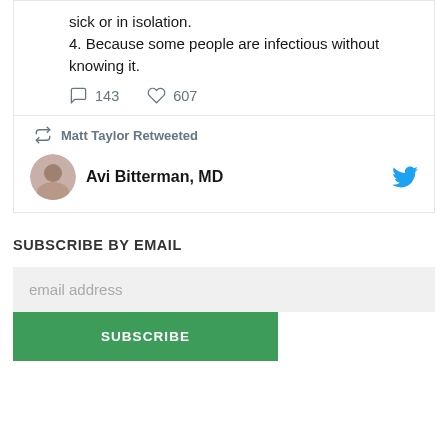sick or in isolation.
4. Because some people are infectious without knowing it.
143  607
Matt Taylor Retweeted
Avi Bitterman, MD
SUBSCRIBE BY EMAIL
email address
SUBSCRIBE